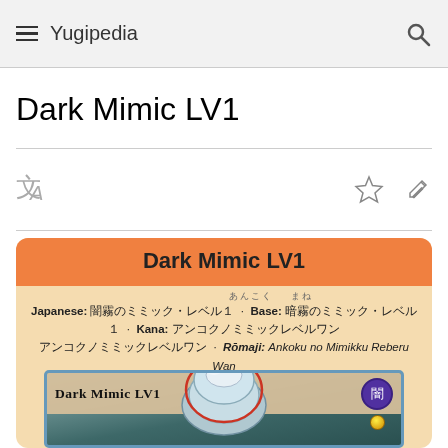Yugipedia
Dark Mimic LV1
[Figure (screenshot): Yugipedia article card info box for Dark Mimic LV1 showing the card name in orange header, Japanese name with ruby annotation, Base, Kana, Romaji (Ankoku no Mimikku Reberu Wan), and a partial view of the Yu-Gi-Oh card artwork showing 'Dark Mimic LV1' text, DARK attribute badge, and monster illustration.]